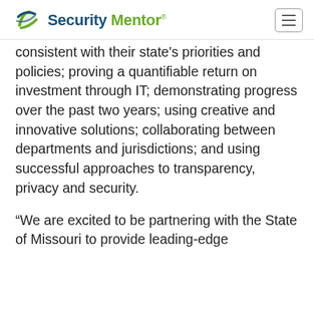Security Mentor
consistent with their state's priorities and policies; proving a quantifiable return on investment through IT; demonstrating progress over the past two years; using creative and innovative solutions; collaborating between departments and jurisdictions; and using successful approaches to transparency, privacy and security.
“We are excited to be partnering with the State of Missouri to provide leading-edge